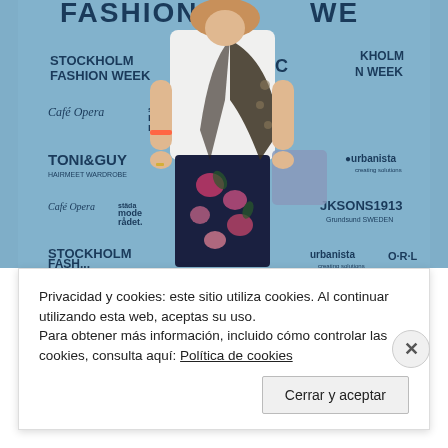[Figure (photo): A woman posing at Stockholm Fashion Week event backdrop. She wears a white t-shirt, dark floral pants, and a patterned scarf. The backdrop shows logos: Stockholm Fashion Week, TONI&GUY, urbanista, Café Opera, mode rådet, DIAGEO, JKSONS1913, and others.]
Privacidad y cookies: este sitio utiliza cookies. Al continuar utilizando esta web, aceptas su uso.
Para obtener más información, incluido cómo controlar las cookies, consulta aquí: Política de cookies